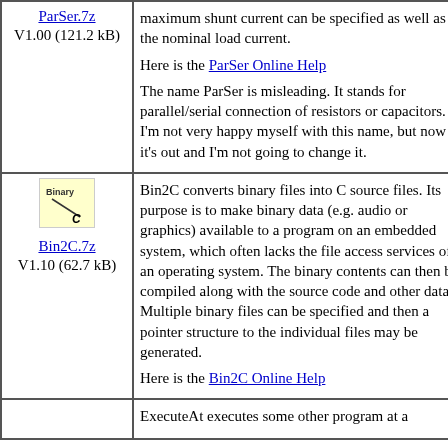| ParSer.7z
V1.00 (121.2 kB) | maximum shunt current can be specified as well as the nominal load current.

Here is the ParSer Online Help

The name ParSer is misleading. It stands for parallel/serial connection of resistors or capacitors. I'm not very happy myself with this name, but now it's out and I'm not going to change it. |
| [Bin2C icon]
Bin2C.7z
V1.10 (62.7 kB) | Bin2C converts binary files into C source files. Its purpose is to make binary data (e.g. audio or graphics) available to a program on an embedded system, which often lacks the file access services of an operating system. The binary contents can then be compiled along with the source code and other data. Multiple binary files can be specified and then a pointer structure to the individual files may be generated.

Here is the Bin2C Online Help |
|  | ExecuteAt executes some other program at a |